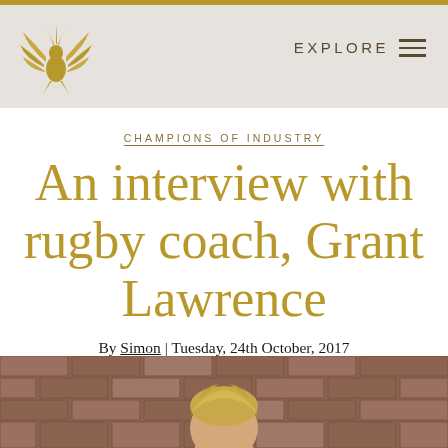EXPLORE
CHAMPIONS OF INDUSTRY
An interview with rugby coach, Grant Lawrence
By Simon | Tuesday, 24th October, 2017
[Figure (photo): Photo of Grant Lawrence against a brick wall background, showing the top of a person's head with blonde hair]